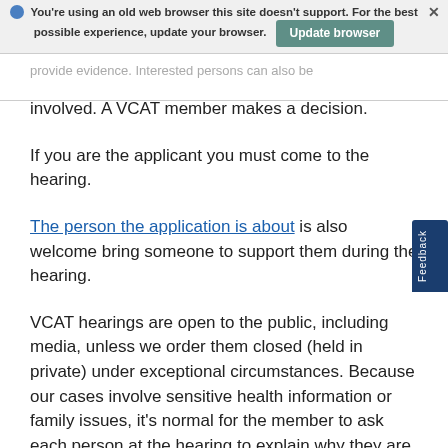[Figure (screenshot): Browser update warning banner with globe icon, text 'You're using an old web browser this site doesn't support. For the best possible experience, update your browser.' and a green 'Update browser' button, with a close X.]
provide evidence. Interested persons can also be involved. A VCAT member makes a decision.
If you are the applicant you must come to the hearing.
The person the application is about is also welcome bring someone to support them during the hearing.
VCAT hearings are open to the public, including media, unless we order them closed (held in private) under exceptional circumstances. Because our cases involve sensitive health information or family issues, it's normal for the member to ask each person at the hearing to explain why they are there.